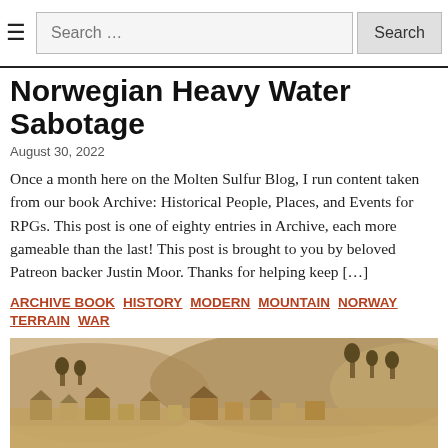≡  Search …  Search
Norwegian Heavy Water Sabotage
August 30, 2022
Once a month here on the Molten Sulfur Blog, I run content taken from our book Archive: Historical People, Places, and Events for RPGs. This post is one of eighty entries in Archive, each more gameable than the last! This post is brought to you by beloved Patreon backer Justin Moor. Thanks for helping keep […]
ARCHIVE BOOK  HISTORY  MODERN  MOUNTAIN  NORWAY  TERRAIN  WAR
[Figure (photo): Sepia-toned historical photograph of a Norwegian town or village with buildings spread across a hillside landscape, trees on the hills in the background.]